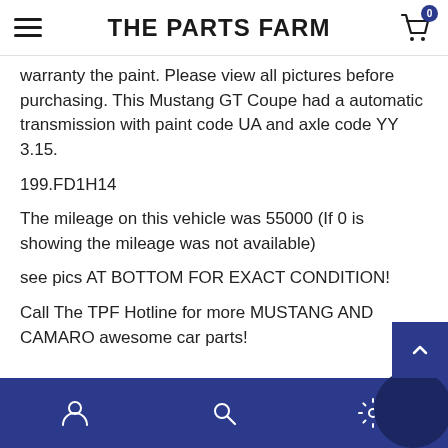THE PARTS FARM
warranty the paint. Please view all pictures before purchasing. This Mustang GT Coupe had a automatic transmission with paint code UA and axle code YY 3.15.
199.FD1H14
The mileage on this vehicle was 55000 (If 0 is showing the mileage was not available)
see pics AT BOTTOM FOR EXACT CONDITION!
Call The TPF Hotline for more MUSTANG AND CAMARO awesome car parts!
----------------------------
Navigation bar with user, search, and settings icons